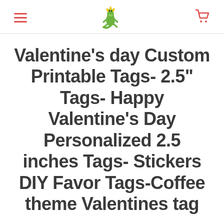[hamburger menu] [logo] [cart]
Valentine's day Custom Printable Tags- 2.5" Tags- Happy Valentine's Day Personalized 2.5 inches Tags- Stickers DIY Favor Tags-Coffee theme Valentines tag